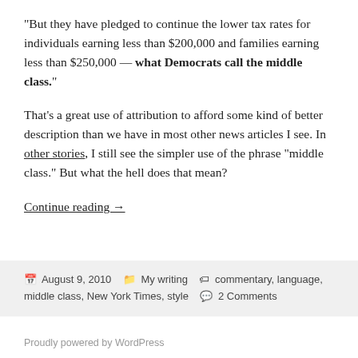“But they have pledged to continue the lower tax rates for individuals earning less than $200,000 and families earning less than $250,000 — what Democrats call the middle class.”
That’s a great use of attribution to afford some kind of better description than we have in most other news articles I see. In other stories, I still see the simpler use of the phrase “middle class.” But what the hell does that mean?
Continue reading →
August 9, 2010  My writing  commentary, language, middle class, New York Times, style  2 Comments
Proudly powered by WordPress